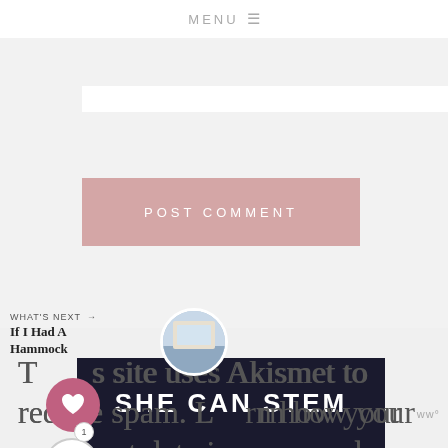MENU ☰
[Figure (screenshot): Comment form area with text input field and POST COMMENT button in dusty rose/mauve color]
This site uses Akismet to reduce spam. Learn how your comment data is processed.
WHAT'S NEXT → If I Had A Hammock
[Figure (screenshot): SHE CAN STEM advertisement banner with dark background and white bold text, with Woo logo at right]